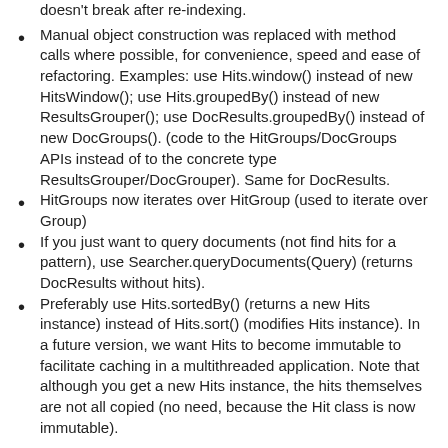doesn't break after re-indexing.
Manual object construction was replaced with method calls where possible, for convenience, speed and ease of refactoring. Examples: use Hits.window() instead of new HitsWindow(); use Hits.groupedBy() instead of new ResultsGrouper(); use DocResults.groupedBy() instead of new DocGroups(). (code to the HitGroups/DocGroups APIs instead of to the concrete type ResultsGrouper/DocGrouper). Same for DocResults.
HitGroups now iterates over HitGroup (used to iterate over Group)
If you just want to query documents (not find hits for a pattern), use Searcher.queryDocuments(Query) (returns DocResults without hits).
Preferably use Hits.sortedBy() (returns a new Hits instance) instead of Hits.sort() (modifies Hits instance). In a future version, we want Hits to become immutable to facilitate caching in a multithreaded application. Note that although you get a new Hits instance, the hits themselves are not all copied (no need, because the Hit class is now immutable).